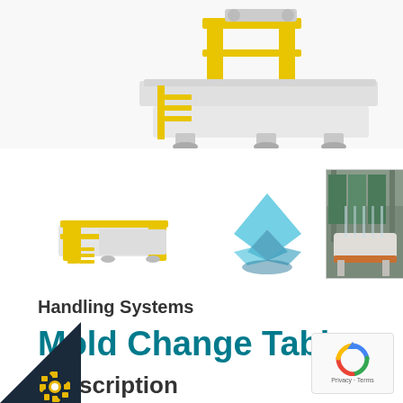[Figure (photo): Industrial machine/handling system with yellow frame structure and white platform, top portion visible]
[Figure (photo): Thumbnail of mold change table with yellow safety railings and white base]
[Figure (photo): Thumbnail of blue angular mold handling equipment]
[Figure (photo): Thumbnail of mold change table in industrial setting, large mold visible]
Handling Systems
Mold Change Tables
Description